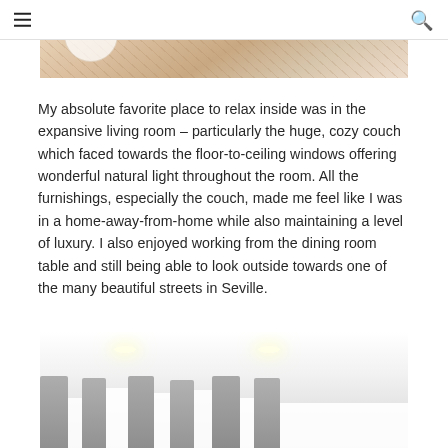[Figure (photo): Top portion of an interior photo showing marble or decorative tile surface with warm beige/tan tones and a white circular object (likely a bowl or plate) visible at left edge.]
My absolute favorite place to relax inside was in the expansive living room – particularly the huge, cozy couch which faced towards the floor-to-ceiling windows offering wonderful natural light throughout the room. All the furnishings, especially the couch, made me feel like I was in a home-away-from-home while also maintaining a level of luxury. I also enjoyed working from the dining room table and still being able to look outside towards one of the many beautiful streets in Seville.
[Figure (photo): Bottom portion of an interior living room photo showing white ceiling with recessed spotlights, light-colored walls, and grey curtains/drapes hanging at floor-to-ceiling windows.]